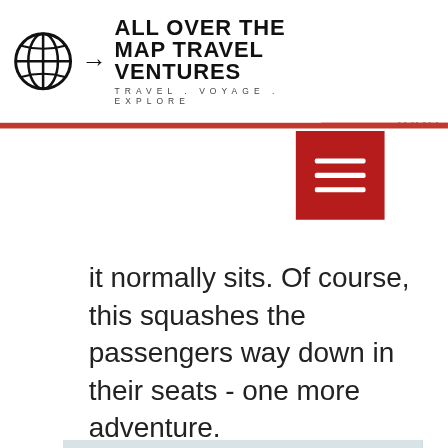ALL OVER THE MAP TRAVEL VENTURES | TRAVEL . VOYAGE . EXPLORE
[Figure (logo): Globe icon with arrow and text logo: ALL OVER THE MAP TRAVEL VENTURES, TRAVEL . VOYAGE . EXPLORE]
[Figure (other): Red hamburger/navigation menu button with three white horizontal lines]
it normally sits. Of course, this squashes the passengers way down in their seats - one more adventure.
[Figure (photo): Photo of a blue long-tail boat on a canal/river in Thailand, with number 22 visible on boat cabin, flowers decoration at bow, buildings and satellite dish in background]